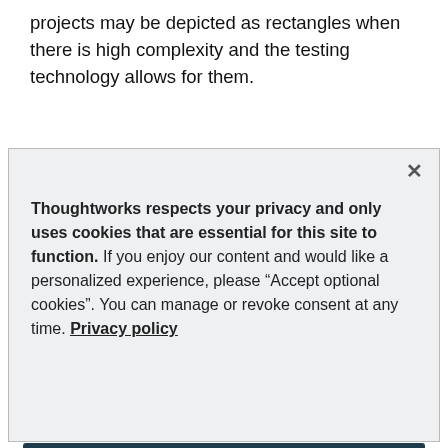projects may be depicted as rectangles when there is high complexity and the testing technology allows for them.
[Figure (screenshot): A cookie consent modal dialog with a close button (×), privacy notice text, and two buttons: 'Accept optional cookies' and 'Manage preferences'.]